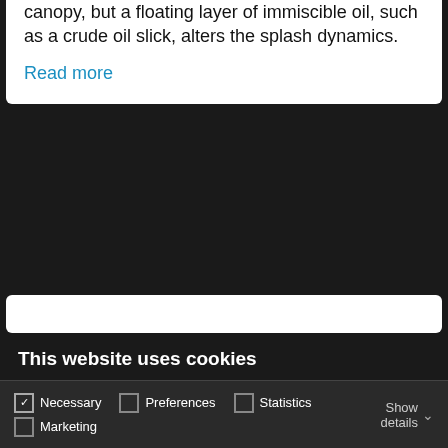canopy, but a floating layer of immiscible oil, such as a crude oil slick, alters the splash dynamics.
Read more
This website uses cookies
We use cookies to personalise content and ads, to provide social media features and to analyse our traffic. We also share information about your use of our site with our social media, advertising and analytics partners who may combine it with other information that you've provided to them or that they've collected from your use of their services. Read our Privacy Policy
Allow all cookies
Allow selection
Use necessary cookies only
Necessary  Preferences  Statistics  Marketing  Show details